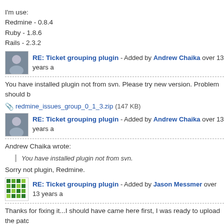I'm use:
Redmine - 0.8.4
Ruby - 1.8.6
Rails - 2.3.2
RE: Ticket grouping plugin - Added by Andrew Chaika over 13 years a
You have installed plugin not from svn. Please try new version. Problem should b
redmine_issues_group_0_1_3.zip (147 KB)
RE: Ticket grouping plugin - Added by Andrew Chaika over 13 years a
Andrew Chaika wrote:
You have installed plugin not from svn.
Sorry not plugin, Redmine.
RE: Ticket grouping plugin - Added by Jason Messmer over 13 years a
Thanks for fixing it...I should have came here first, I was ready to upload the patc an awesome plugin...
RE: Ticket grouping plugin - Added by Jason Messmer over 13 years a
Is project_tree_options_for select option implemented?
ActionView::TemplateError (undefined method `project_tre